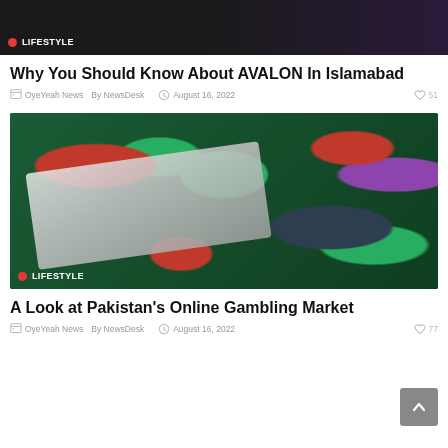[Figure (photo): Top portion of a dark lifestyle article image with black and purple tones]
LIFESTYLE
Why You Should Know About AVALON In Islamabad
OyeYeah News  By NewsDesk  August 16, 2022  51
[Figure (photo): Casino chips (red, green, black), dice, and a white keyboard on a dark green felt background with LIFESTYLE badge]
LIFESTYLE
A Look at Pakistan's Online Gambling Market
OyeYeah News  By NewsDesk  August 16, 2022  77